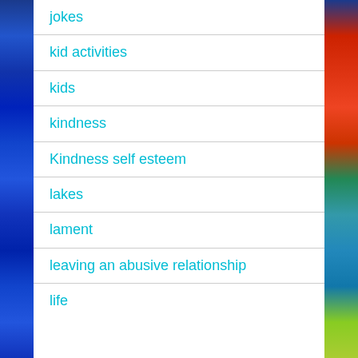jokes
kid activities
kids
kindness
Kindness self esteem
lakes
lament
leaving an abusive relationship
life